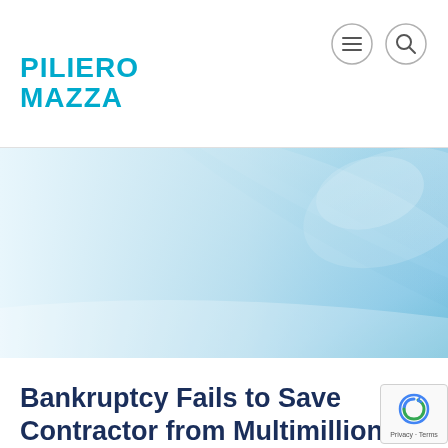PILIERO MAZZA
[Figure (illustration): Abstract blue and white gradient hero banner with soft curved shapes and light reflections, representing a law firm website header background.]
Bankruptcy Fails to Save Contractor from Multimillion Dollar SCA Back Wage Liability